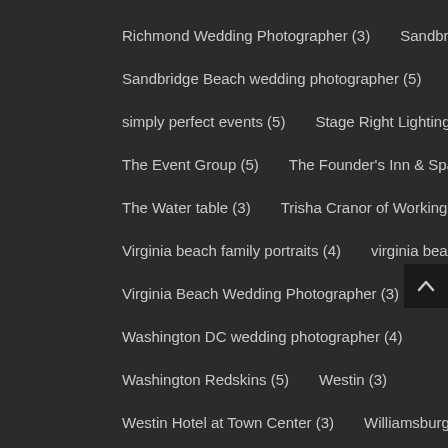Richmond Wedding Photographer (3)
Sandbridge Beach (6)
Sandbridge Beach wedding photographer (5)
simply perfect events (5)
Stage Right Lighting (5)
The Event Group (5)
The Founder's Inn & Spa (5)
The Water table (3)
Trisha Cranor of Working Brides (3)
Virginia beach family portraits (4)
virginia beach wedding (3)
Virginia Beach Wedding Photographer (3)
Volcanik (3)
Washington DC wedding photographer (4)
Washington Redskins (5)
Westin (3)
Westin Hotel at Town Center (3)
Williamsburg Inn (3)
Womans Club of Portsmouth (3)